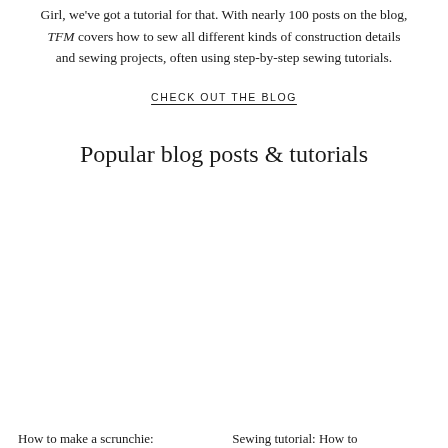Girl, we've got a tutorial for that. With nearly 100 posts on the blog, TFM covers how to sew all different kinds of construction details and sewing projects, often using step-by-step sewing tutorials.
CHECK OUT THE BLOG
Popular blog posts & tutorials
How to make a scrunchie:
Sewing tutorial: How to